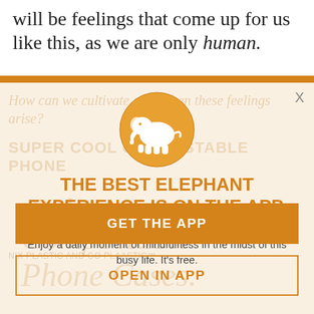will be feelings that come up for us like this, as we are only human.
[Figure (logo): Orange circle with white elephant silhouette — Elephant Journal app icon]
THE BEST ELEPHANT EXPERIENCE IS ON THE APP.
Enjoy a daily moment of mindfulness in the midst of this busy life. It's free.
GET THE APP
OPEN IN APP